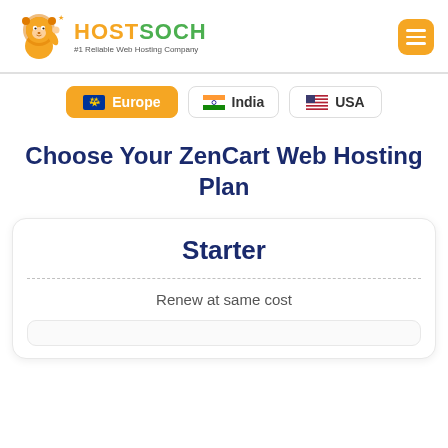[Figure (logo): HostSoch logo with lion mascot and tagline #1 Reliable Web Hosting Company]
HOSTSOCH #1 Reliable Web Hosting Company
Europe (active/selected)
India
USA
Choose Your ZenCart Web Hosting Plan
Starter
Renew at same cost